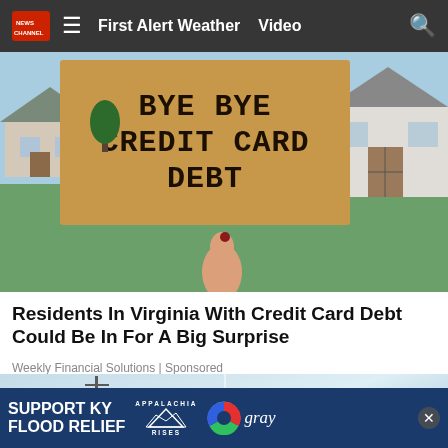First Alert Weather  Video
[Figure (photo): Person holding a cardboard sign reading 'BYE BYE CREDIT CARD DEBT' in front of a house with a grassy lawn]
Residents In Virginia With Credit Card Debt Could Be In For A Big Surprise
Weekly Financial Solutions | Sponsored
[Figure (photo): Partial view of cars and power lines, outdoor scene]
[Figure (infographic): Ad banner: SUPPORT KY FLOOD RELIEF with Appalachia Rises and Gray TV logos]